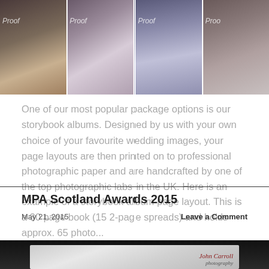[Figure (photo): Strip of four wedding photographs with 'Proof' watermarks. First image shows flowers and white shoes on a table; second and third show a bride in a white dress in a mirror reflection; fourth shows a close-up of the bride's dress.]
One of our most popular package options is our storybook albums. Designed by us with your own choice of your favourite wedding images, your page layouts are then printed on to professional photographic paper and are handcrafted by one of the top photographic labs in the UK. Here is an example of a storybook album page layout. This is a 30 page book (15 2-page spreads) and holds approx. 65 photo...
Read the Full Post »
MPA Scotland Awards 2015
May 21, 2015
Leave a Comment
[Figure (photo): Partial view of a photography award or promotional image with John Carroll Photography logo in red cursive script in the bottom right corner.]